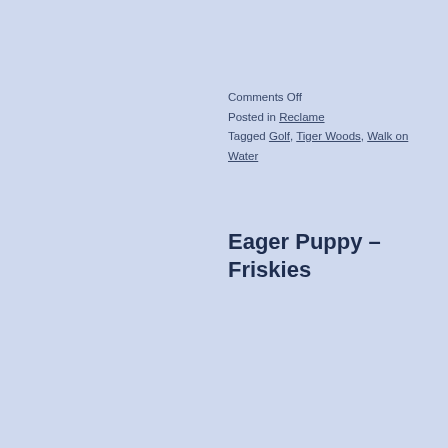Comments Off
Posted in Reclame
Tagged Golf, Tiger Woods, Walk on Water
Eager Puppy – Friskies